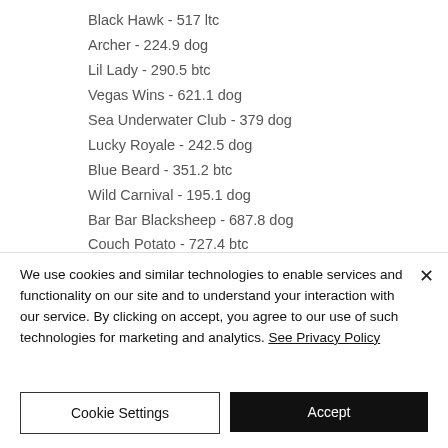Black Hawk - 517 ltc
Archer - 224.9 dog
Lil Lady - 290.5 btc
Vegas Wins - 621.1 dog
Sea Underwater Club - 379 dog
Lucky Royale - 242.5 dog
Blue Beard - 351.2 btc
Wild Carnival - 195.1 dog
Bar Bar Blacksheep - 687.8 dog
Couch Potato - 727.4 btc
Super Hot - 275.5 ltc
Mamma Mia 2D - 364.6 dog
We use cookies and similar technologies to enable services and functionality on our site and to understand your interaction with our service. By clicking on accept, you agree to our use of such technologies for marketing and analytics. See Privacy Policy